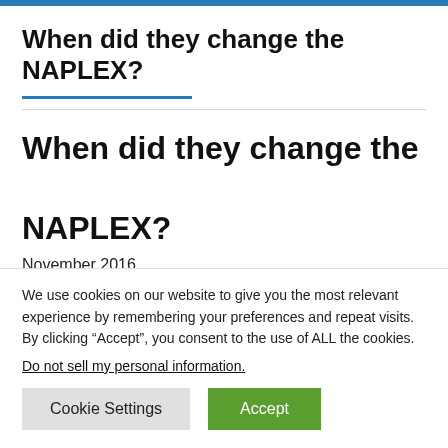When did they change the NAPLEX?
When did they change the NAPLEX?
November 2016
We use cookies on our website to give you the most relevant experience by remembering your preferences and repeat visits. By clicking “Accept”, you consent to the use of ALL the cookies.
Do not sell my personal information.